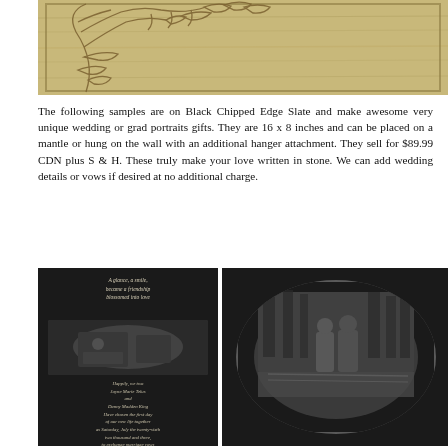[Figure (photo): Laser-engraved wooden plank with decorative tree/floral design burned into the wood surface, showing natural pine grain]
The following samples are on Black Chipped Edge Slate and make awesome very unique wedding or grad portraits gifts. They are 16 x 8 inches and can be placed on a mantle or hung on the wall with an additional hanger attachment. They sell for $89.99 CDN plus S & H. These truly make your love written in stone. We can add wedding details or vows if desired at no additional charge.
[Figure (photo): Black slate plaque with engraved couple portrait photo and italic wedding vow text including names Jayne Marie Telus and Danny Madden King, dated Saturday July the twenty-sixth two thousand and three, exchanged marriage vows at four thirty in the afternoon at the Fairwinds Golf and Country Club Nanoose Bay, British Columbia]
[Figure (photo): Black slate plaque with oval-framed engraved photo portrait of a couple standing outdoors near water/trees]